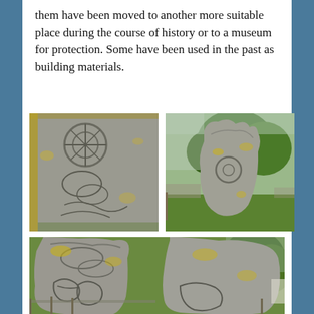them have been moved to another more suitable place during the course of history or to a museum for protection. Some have been used in the past as building materials.
[Figure (photo): Close-up photo of a carved Pictish stone with intricate knotwork and circular patterns, showing weathered grey stone with lichen.]
[Figure (photo): Photo of a standing stone in a green field with trees in the background, showing a weathered stone with yellow lichen and a carved circular symbol.]
[Figure (photo): Wide close-up photo of a large carved Pictish standing stone showing elaborate carved symbols including interlace and animal figures, with yellow lichen and a green grass background.]